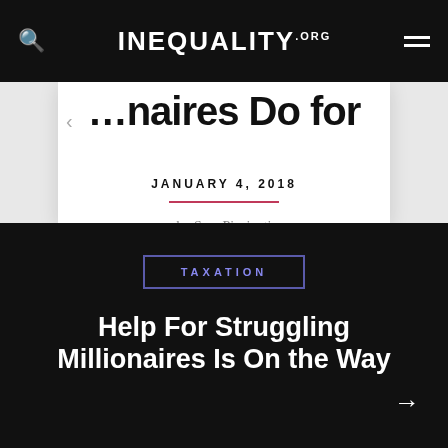INEQUALITY.ORG
JANUARY 4, 2018
by Sam Pizzigati
TAXATION
Help For Struggling Millionaires Is On the Way